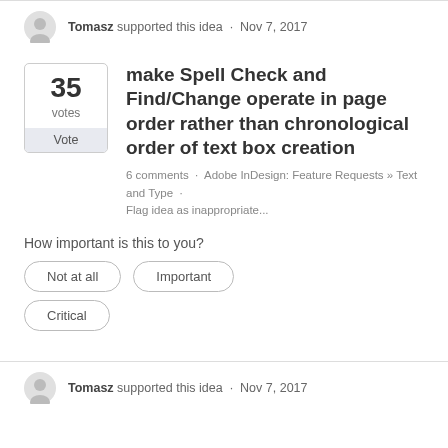Tomasz supported this idea · Nov 7, 2017
make Spell Check and Find/Change operate in page order rather than chronological order of text box creation
6 comments · Adobe InDesign: Feature Requests » Text and Type · Flag idea as inappropriate...
How important is this to you?
Not at all
Important
Critical
Tomasz supported this idea · Nov 7, 2017